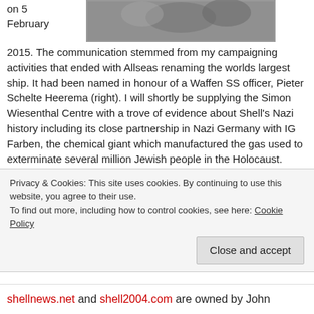on 5 February
[Figure (photo): Black and white photograph of a person, partially visible at the top right of the page]
2015. The communication stemmed from my campaigning activities that ended with Allseas renaming the worlds largest ship. It had been named in honour of a Waffen SS officer, Pieter Schelte Heerema (right). I will shortly be supplying the Simon Wiesenthal Centre with a trove of evidence about Shell's Nazi history including its close partnership in Nazi Germany with IG Farben, the chemical giant which manufactured the gas used to exterminate several million Jewish people in the Holocaust. Dutch Directors of the Royal Dutch Shell Group including Sir Henri Deterding helped finance Hitler and the Nazi Party.
read more
Privacy & Cookies: This site uses cookies. By continuing to use this website, you agree to their use.
To find out more, including how to control cookies, see here: Cookie Policy
Close and accept
shellnews.net and shell2004.com are owned by John